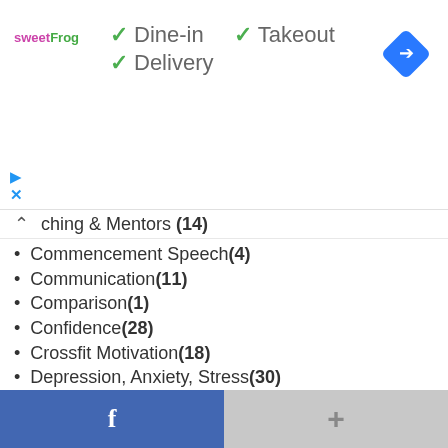[Figure (screenshot): Ad banner showing sweetFrog logo with Dine-in, Takeout, Delivery checkmarks and a navigation diamond icon]
ching & Mentors (14)
Commencement Speech (4)
Communication (11)
Comparison (1)
Confidence (28)
Crossfit Motivation (18)
Depression, Anxiety, Stress (30)
Distraction & Focus (32)
Energy (10)
Entrepreneur (176)
Exercise & Workout (8)
Experiences (21)
Facing Fear (23)
Failure (30)
Faith (3)